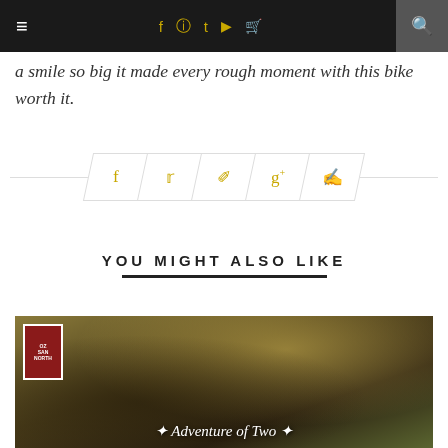Navigation header with social icons
a smile so big it made every rough moment with this bike worth it.
[Figure (infographic): Social sharing icons bar with Facebook, Twitter, Pinterest, Google+, and Comment icons in gold/yellow color on parallelogram-shaped buttons]
YOU MIGHT ALSO LIKE
[Figure (photo): Thumbnail image of a street scene with trees and buildings, with white text overlay reading 'Adventure of Two']